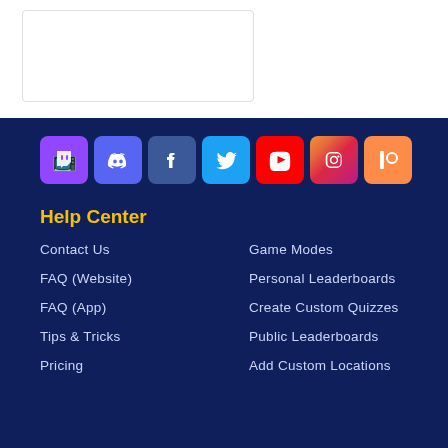[Figure (screenshot): White card/box element in the top white section of the page]
[Figure (infographic): Row of social media icon buttons: Twitch, Discord, Facebook, Twitter, YouTube, Instagram, Patreon]
Help Center
Contact Us
Game Modes
FAQ (Website)
Personal Leaderboards
FAQ (App)
Create Custom Quizzes
Tips & Tricks
Public Leaderboards
Pricing
Add Custom Locations